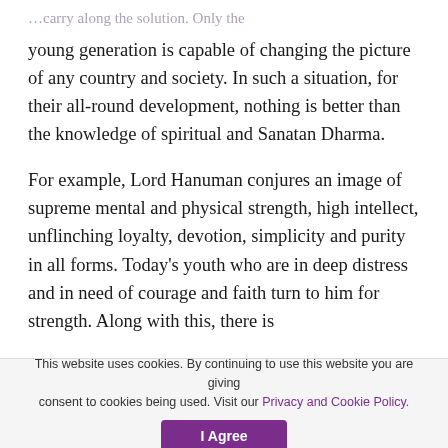…carry along the solution. Only the young generation is capable of changing the picture of any country and society. In such a situation, for their all-round development, nothing is better than the knowledge of spiritual and Sanatan Dharma.
For example, Lord Hanuman conjures an image of supreme mental and physical strength, high intellect, unflinching loyalty, devotion, simplicity and purity in all forms. Today's youth who are in deep distress and in need of courage and faith turn to him for strength. Along with this, there is…
This website uses cookies. By continuing to use this website you are giving consent to cookies being used. Visit our Privacy and Cookie Policy.
I Agree